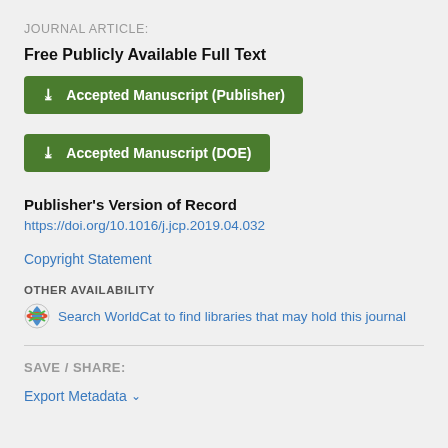JOURNAL ARTICLE:
Free Publicly Available Full Text
Accepted Manuscript (Publisher)
Accepted Manuscript (DOE)
Publisher's Version of Record
https://doi.org/10.1016/j.jcp.2019.04.032
Copyright Statement
OTHER AVAILABILITY
Search WorldCat to find libraries that may hold this journal
SAVE / SHARE:
Export Metadata